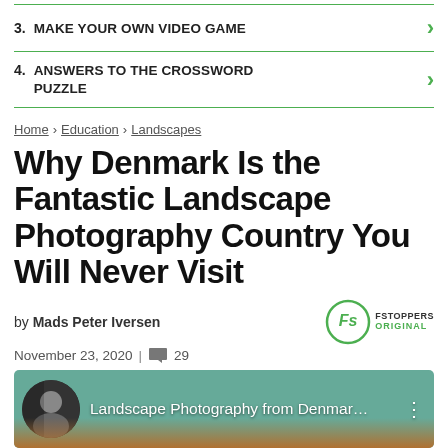3.  MAKE YOUR OWN VIDEO GAME
4.  ANSWERS TO THE CROSSWORD PUZZLE
Home > Education > Landscapes
Why Denmark Is the Fantastic Landscape Photography Country You Will Never Visit
by Mads Peter Iversen
November 23, 2020  |  29
[Figure (screenshot): Video thumbnail showing Landscape Photography from Denmark with a person avatar and background scenery]